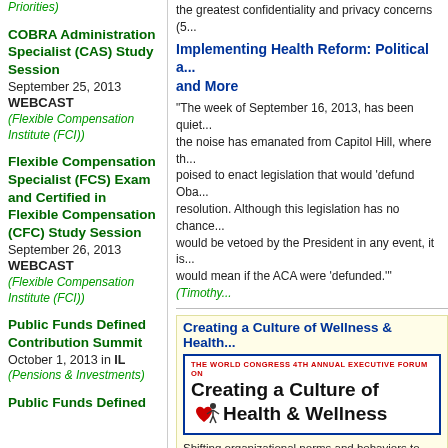COBRA Administration Specialist (CAS) Study Session
September 25, 2013
WEBCAST
(Flexible Compensation Institute (FCI))
Flexible Compensation Specialist (FCS) Exam and Certified in Flexible Compensation (CFC) Study Session
September 26, 2013
WEBCAST
(Flexible Compensation Institute (FCI))
Public Funds Defined Contribution Summit
October 1, 2013 in IL
(Pensions & Investments)
Public Funds Defined
the greatest confidentiality and privacy concerns (5...
Implementing Health Reform: Political a... and More
"The week of September 16, 2013, has been quiet... the noise has emanated from Capitol Hill, where th... poised to enact legislation that would 'defund Oba... resolution. Although this legislation has no chance... would be vetoed by the President in any event, it is... would mean if the ACA were 'defunded.'" (Timothy...
Creating a Culture of Wellness & Health...
[Figure (illustration): Banner image: The World Congress 4th Annual Executive Forum on Creating a Culture of Health & Wellness, with a heart and figure logo]
Shifting organizational norms and behaviors to em... exponential rise in employee health, engagement... resources and charting next steps in transforming...